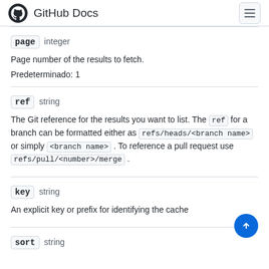GitHub Docs
page  integer
Page number of the results to fetch.
Predeterminado:  1
ref  string
The Git reference for the results you want to list. The ref for a branch can be formatted either as refs/heads/<branch name> or simply <branch name> . To reference a pull request use refs/pull/<number>/merge .
key  string
An explicit key or prefix for identifying the cache
sort  string